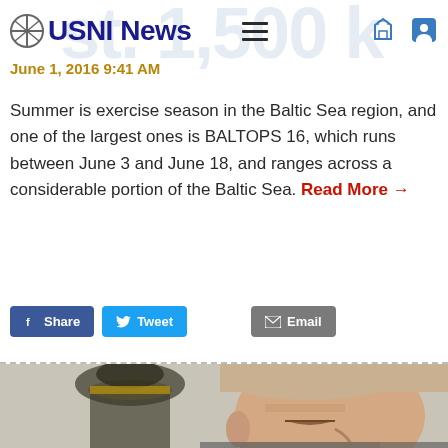USNI News
June 1, 2016 9:41 AM
Summer is exercise season in the Baltic Sea region, and one of the largest ones is BALTOPS 16, which runs between June 3 and June 18, and ranges across a considerable portion of the Baltic Sea. Read More →
[Figure (screenshot): Social sharing buttons: Facebook Share, Tweet, and Email]
[Figure (photo): Photo of a man in foreground (profile view, short blonde hair) with a military officer in dark uniform and cap blurred in the background]